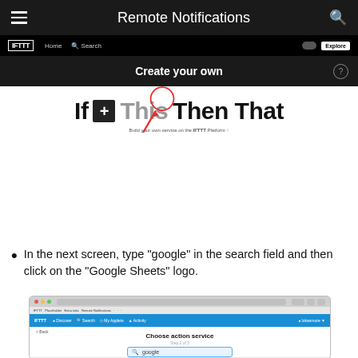Remote Notifications
[Figure (screenshot): IFTTT website screenshot showing navigation bar with Home and Search links, and a 'Create your own' banner. Below is the IFTTT logo page showing 'If [+] This Then That' with a red circle annotation around the + box and a red arrow pointing to it.]
In the next screen, type "google" in the search field and then click on the "Google Sheets" logo.
[Figure (screenshot): Browser screenshot showing IFTTT 'Choose action service' page with a search box containing the text 'google'.]